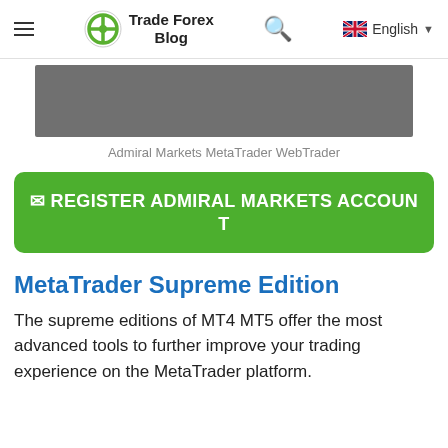Trade Forex Blog
[Figure (screenshot): Admiral Markets MetaTrader WebTrader screenshot placeholder (gray rectangle)]
Admiral Markets MetaTrader WebTrader
✈ REGISTER ADMIRAL MARKETS ACCOUNT
MetaTrader Supreme Edition
The supreme editions of MT4 MT5 offer the most advanced tools to further improve your trading experience on the MetaTrader platform.